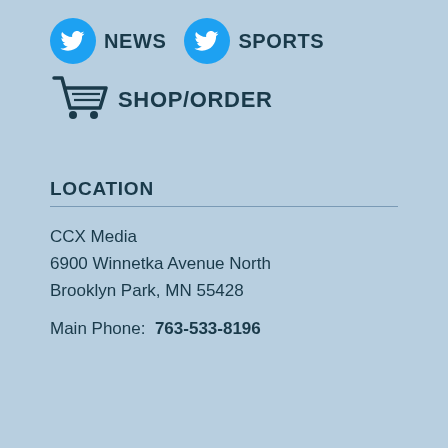[Figure (logo): Twitter bird icon (blue circle with white bird) followed by bold text NEWS, then another Twitter bird icon followed by bold text SPORTS]
[Figure (logo): Shopping cart icon followed by bold text SHOP/ORDER]
LOCATION
CCX Media
6900 Winnetka Avenue North
Brooklyn Park, MN 55428
Main Phone: 763-533-8196